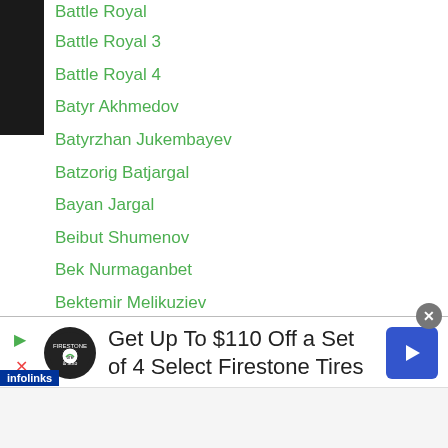Battle Royal
Battle Royal 3
Battle Royal 4
Batyr Akhmedov
Batyrzhan Jukembayev
Batzorig Batjargal
Bayan Jargal
Beibut Shumenov
Bek Nurmaganbet
Bektemir Melikuziev
Bekzat Nurdauletov
Benezer Alolod
Benjie Suganob
Ben Mananquil
Berik Abdrakhmanov
Berikbay Nurymbetov
k Chartyanchai
[Figure (infographic): Advertisement banner: 'Get Up To $110 Off a Set of 4 Select Firestone Tires' with Firestone logo, infolinks label, close button, play and X controls, and blue arrow navigation button]